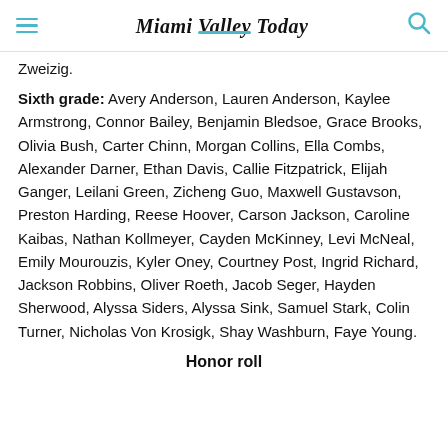Miami Valley Today
Zweizig.
Sixth grade: Avery Anderson, Lauren Anderson, Kaylee Armstrong, Connor Bailey, Benjamin Bledsoe, Grace Brooks, Olivia Bush, Carter Chinn, Morgan Collins, Ella Combs, Alexander Darner, Ethan Davis, Callie Fitzpatrick, Elijah Ganger, Leilani Green, Zicheng Guo, Maxwell Gustavson, Preston Harding, Reese Hoover, Carson Jackson, Caroline Kaibas, Nathan Kollmeyer, Cayden McKinney, Levi McNeal, Emily Mourouzis, Kyler Oney, Courtney Post, Ingrid Richard, Jackson Robbins, Oliver Roeth, Jacob Seger, Hayden Sherwood, Alyssa Siders, Alyssa Sink, Samuel Stark, Colin Turner, Nicholas Von Krosigk, Shay Washburn, Faye Young.
Honor roll